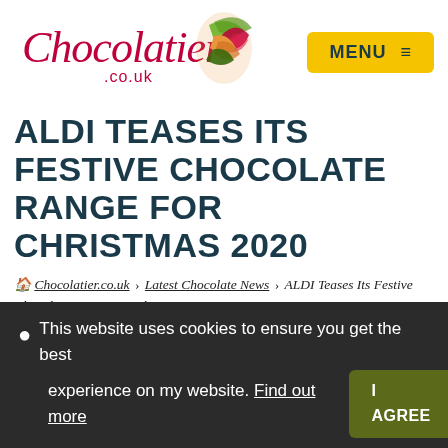[Figure (logo): Chocolatier.co.uk logo with cursive script text and colorful leaf/cocoa pod graphic on right]
MENU ☰
ALDI TEASES ITS FESTIVE CHOCOLATE RANGE FOR CHRISTMAS 2020
🏠 Chocolatier.co.uk › Latest Chocolate News › ALDI Teases Its Festive Chocolate Range For Christmas 2020
👤 David Fiske   🗓 20th August 2020
This website uses cookies to ensure you get the best experience on my website. Find out more   I AGREE
Disclosure: This article may contain affiliate links.